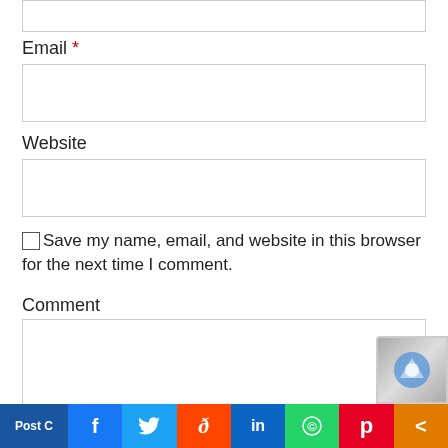[Figure (screenshot): Top input field (partially visible, cropped at top)]
Email *
[Figure (screenshot): Email input text field, empty]
Website
[Figure (screenshot): Website input text field, empty]
Save my name, email, and website in this browser for the next time I comment.
Comment
[Figure (screenshot): Comment textarea, empty, large multi-line input]
[Figure (screenshot): Social share bar at bottom: Post C, Facebook, Twitter, Reddit, LinkedIn, WhatsApp, Pinterest, Share]
[Figure (screenshot): reCAPTCHA badge icon, bottom right]